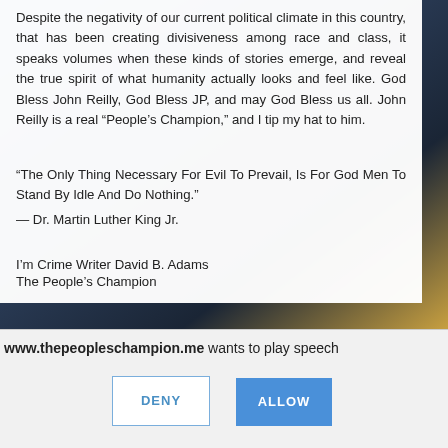Despite the negativity of our current political climate in this country, that has been creating divisiveness among race and class, it speaks volumes when these kinds of stories emerge, and reveal the true spirit of what humanity actually looks and feel like. God Bless John Reilly, God Bless JP, and may God Bless us all. John Reilly is a real “People’s Champion,” and I tip my hat to him.
“The Only Thing Necessary For Evil To Prevail, Is For God Men To Stand By Idle And Do Nothing.”
— Dr. Martin Luther King Jr.
I’m Crime Writer David B. Adams
The People’s Champion
www.thepeopleschampion.me wants to play speech
DENY
ALLOW